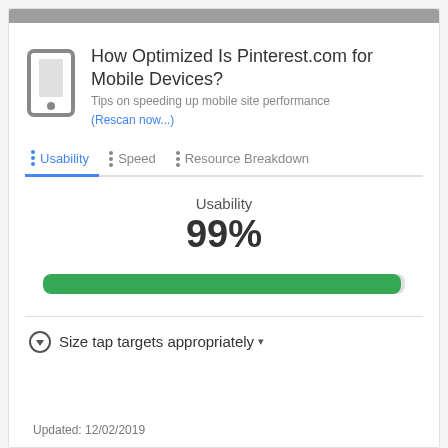How Optimized Is Pinterest.com for Mobile Devices?
Tips on speeding up mobile site performance (Rescan now...)
Usability | Speed | Resource Breakdown
Usability
99%
[Figure (other): Horizontal green progress bar showing 99% usability score]
Size tap targets appropriately ▾
Updated: 12/02/2019